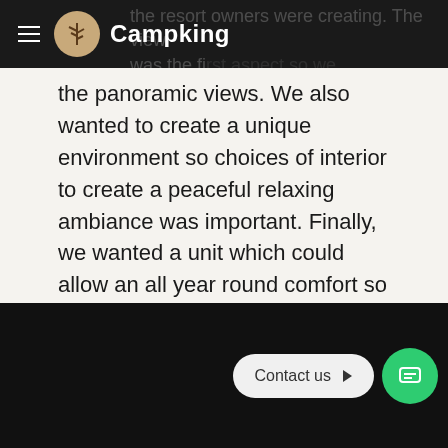Campking
the resort owners were creating. The view was the first aspect so we wanted a unit which would show off the panoramic views. We also wanted to create a unique environment so choices of interior to create a peaceful relaxing ambiance was important. Finally, we wanted a unit which could allow an all year round comfort so we wanted a log burner which could be used safely to create a romantic atmosphere on those cold nights.
[Figure (screenshot): Dark black panel at the bottom of the page with a 'Contact us' button and a green chat icon button]